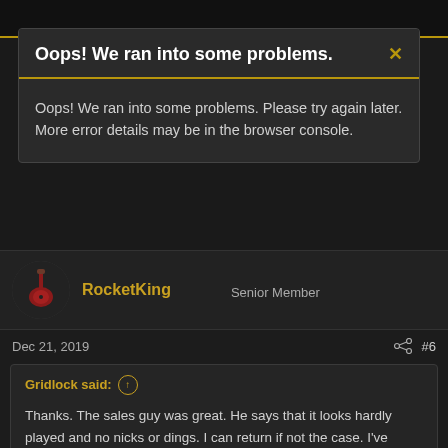Oops! We ran into some problems.
Oops! We ran into some problems. Please try again later. More error details may be in the browser console.
RocketKing
Senior Member
Dec 21, 2019
#6
Gridlock said:
Thanks. The sales guy was great. He says that it looks hardly played and no nicks or dings. I can return if not the case. I've already bought covers for the zebras.

Not finding a lot of details on the 2009 model.